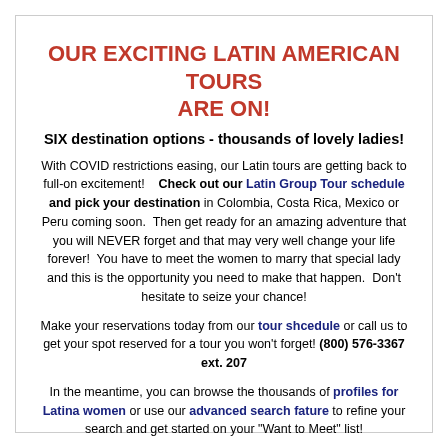OUR EXCITING LATIN AMERICAN TOURS ARE ON!
SIX destination options - thousands of lovely ladies!
With COVID restrictions easing, our Latin tours are getting back to full-on excitement!    Check out our Latin Group Tour schedule and pick your destination in Colombia, Costa Rica, Mexico or Peru coming soon.  Then get ready for an amazing adventure that you will NEVER forget and that may very well change your life forever!  You have to meet the women to marry that special lady and this is the opportunity you need to make that happen.  Don't hesitate to seize your chance!
Make your reservations today from our tour shcedule or call us to get your spot reserved for a tour you won't forget! (800) 576-3367 ext. 207
In the meantime, you can browse the thousands of profiles for Latina women or use our advanced search fature to refine your search and get started on your "Want to Meet" list!